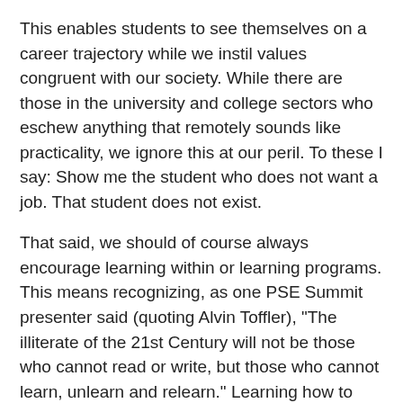This enables students to see themselves on a career trajectory while we instil values congruent with our society. While there are those in the university and college sectors who eschew anything that remotely sounds like practicality, we ignore this at our peril. To these I say: Show me the student who does not want a job. That student does not exist.
That said, we should of course always encourage learning within or learning programs. This means recognizing, as one PSE Summit presenter said (quoting Alvin Toffler), "The illiterate of the 21st Century will not be those who cannot read or write, but those who cannot learn, unlearn and relearn." Learning how to learn is an essential component of what we need to teach in order to future proof our economy. This creates resilience. It is a defining feature of those innovation skills I've termed innovation literacy. If the pace of technological change ushers in new forms of learning (about and with new technologies, for example), then the pace of credentialing similarly needs to be accelerated and adapted (IBM's M Mindel). In short, not only are there new competencies and skills associated with innovation as J.